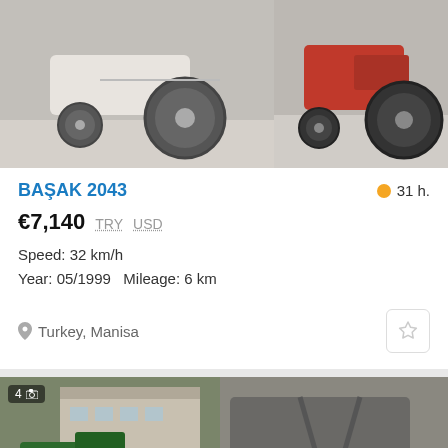[Figure (photo): Two tractor photos side by side - left shows white/gray tractor wheels, right shows red and black tractor with large tires]
BAŞAK 2043
31 h.
€7,140  TRY  USD
Speed: 32 km/h
Year: 05/1999   Mileage: 6 km
Turkey, Manisa
[Figure (photo): Green John Deere compact tractor with red flail mower attachment in front of a building]
[Figure (photo): Red flail mower attachment on pavement]